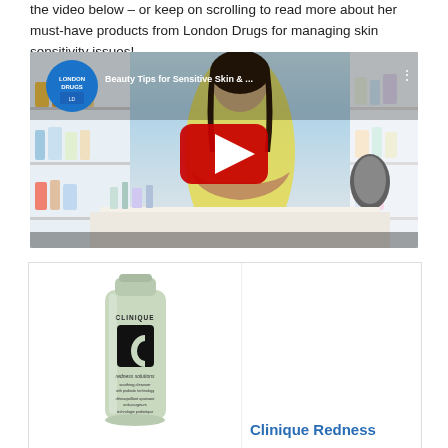the video below – or keep on scrolling to read more about her must-have products from London Drugs for managing skin sensitivity issues!
[Figure (screenshot): YouTube video thumbnail showing a woman in a yellow top at a London Drugs store with beauty products. Title reads 'Beauty Tips for Sensitive Skin & ...' with London Drugs logo and red play button.]
[Figure (photo): Clinique Redness Solutions soothing cleanser tube product image in light green packaging with black Clinique logo.]
Clinique Redness